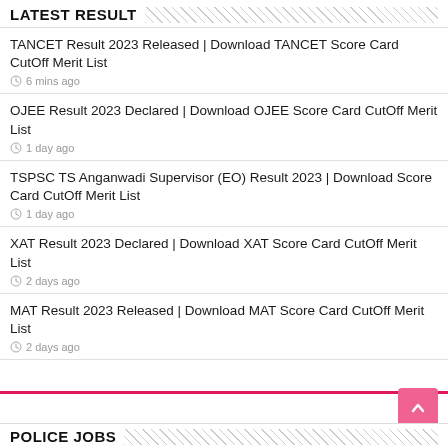LATEST RESULT
TANCET Result 2023 Released | Download TANCET Score Card CutOff Merit List
OJEE Result 2023 Declared | Download OJEE Score Card CutOff Merit List
TSPSC TS Anganwadi Supervisor (EO) Result 2023 | Download Score Card CutOff Merit List
XAT Result 2023 Declared | Download XAT Score Card CutOff Merit List
MAT Result 2023 Released | Download MAT Score Card CutOff Merit List
POLICE JOBS